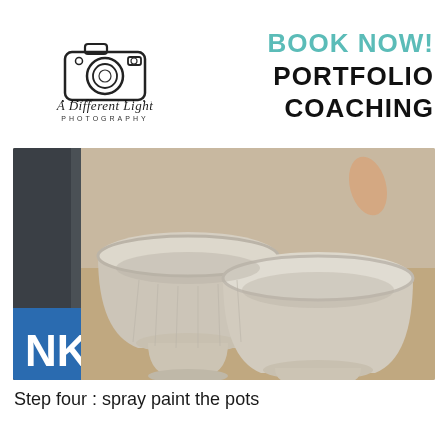[Figure (logo): A Different Light Photography logo: hand-drawn camera illustration with script text 'A Different Light' and 'PHOTOGRAPHY' in small caps below]
BOOK NOW!
PORTFOLIO COACHING
[Figure (photo): Two white/cream spray-painted decorative urn-style pots sitting on carpet next to a blue framed sign partially visible at bottom left]
Step four : spray paint the pots